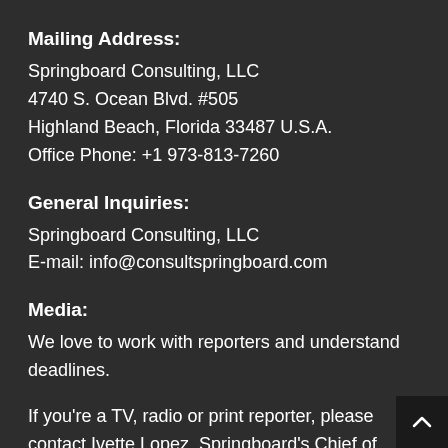Mailing Address:
Springboard Consulting, LLC
4740 S. Ocean Blvd. #505
Highland Beach, Florida 33487 U.S.A.
Office Phone: +1 973-813-7260
General Inquiries:
Springboard Consulting, LLC
E-mail: info@consultspringboard.com
Media:
We love to work with reporters and understand deadlines.

If you're a TV, radio or print reporter, please contact Ivette Lopez, Springboard's Chief of